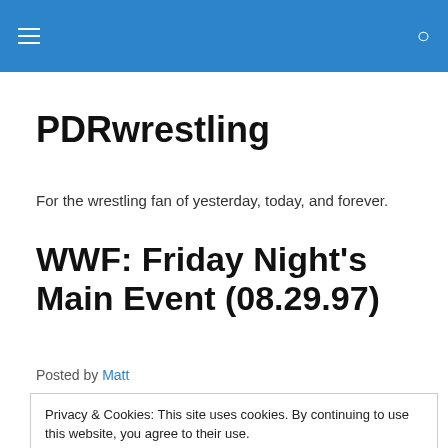PDRwrestling — navigation bar
PDRwrestling
For the wrestling fan of yesterday, today, and forever.
WWF: Friday Night's Main Event (08.29.97)
Posted by Matt
Privacy & Cookies: This site uses cookies. By continuing to use this website, you agree to their use. To find out more, including how to control cookies, see here: Cookie Policy
Close and accept